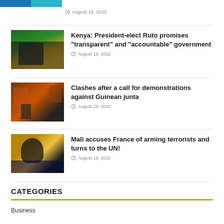[Figure (other): Two colored strip banners (blue and teal) at top left]
August 18, 2022
[Figure (photo): Man in suit speaking at podium with green and yellow flag in background (Kenya)]
Kenya: President-elect Ruto promises "transparent" and "accountable" government
August 18, 2022
[Figure (photo): Street clashes scene with smoke and security forces]
Clashes after a call for demonstrations against Guinean junta
August 18, 2022
[Figure (photo): Portrait of man wearing glasses and suit (Mali)]
Mali accuses France of arming terrorists and turns to the UN!
August 18, 2022
CATEGORIES
Business